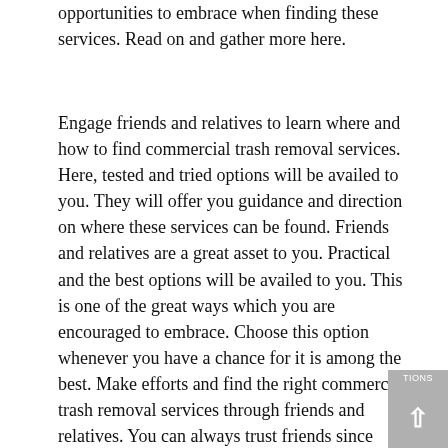opportunities to embrace when finding these services. Read on and gather more here.
Engage friends and relatives to learn where and how to find commercial trash removal services. Here, tested and tried options will be availed to you. They will offer you guidance and direction on where these services can be found. Friends and relatives are a great asset to you. Practical and the best options will be availed to you. This is one of the great ways which you are encouraged to embrace. Choose this option whenever you have a chance for it is among the best. Make efforts and find the right commercial trash removal services through friends and relatives. You can always trust friends since through them dependable information will be accessed with great ease. Make the right plans and fulfill your goals by embracing one of the best options when finding commercial trash removal services.